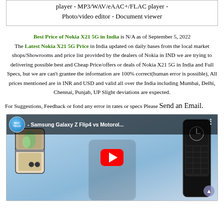player - MP3/WAV/eAAC+/FLAC player - Photo/video editor - Document viewer
Best Price of Nokia X21 5G in India is N/A as of September 5, 2022
The Latest Nokia X21 5G Price in India updated on daily bases from the local market shops/Showrooms and price list provided by the dealers of Nokia in IND we are trying to delivering possible best and Cheap Price/offers or deals of Nokia X21 5G in India and Full Specs, but we are can't grantee the information are 100% correct(human error is possible), All prices mentioned are in INR and USD and valid all over the India including Mumbai, Delhi, Chennai, Punjab, UP Slight deviations are expected.
For Suggestions, Feedback or fond any error in rates or specs Please Send an Email.
[Figure (screenshot): YouTube video thumbnail showing Samsung Galaxy Z Flip4 vs Motorol... with MACTECH channel logo and play button overlay, featuring two smartphones on a blue background.]